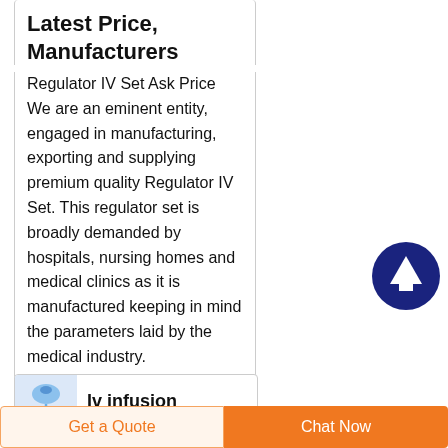Latest Price, Manufacturers
Regulator IV Set Ask Price We are an eminent entity, engaged in manufacturing, exporting and supplying premium quality Regulator IV Set. This regulator set is broadly demanded by hospitals, nursing homes and medical clinics as it is manufactured keeping in mind the parameters laid by the medical industry.
[Figure (illustration): Dark navy blue circular button with white upward arrow icon]
[Figure (illustration): Product thumbnail image for Iv infusion]
Iv infusion
Get a Quote
Chat Now